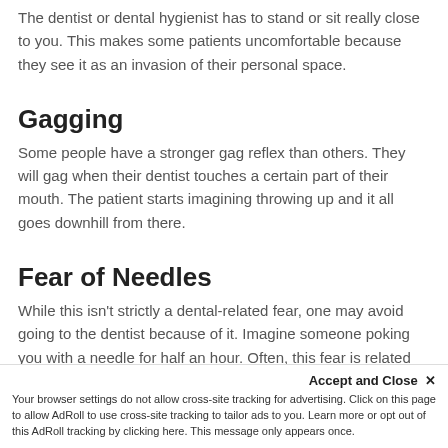The dentist or dental hygienist has to stand or sit really close to you. This makes some patients uncomfortable because they see it as an invasion of their personal space.
Gagging
Some people have a stronger gag reflex than others. They will gag when their dentist touches a certain part of their mouth. The patient starts imagining throwing up and it all goes downhill from there.
Fear of Needles
While this isn't strictly a dental-related fear, one may avoid going to the dentist because of it. Imagine someone poking you with a needle for half an hour. Often, this fear is related to...ar
Accept and Close ✕
Your browser settings do not allow cross-site tracking for advertising. Click on this page to allow AdRoll to use cross-site tracking to tailor ads to you. Learn more or opt out of this AdRoll tracking by clicking here. This message only appears once.